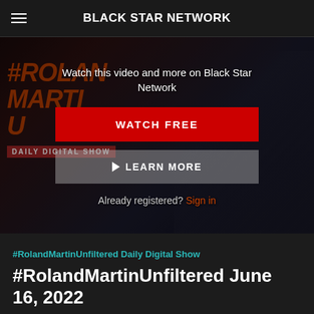BLACK STAR NETWORK
[Figure (screenshot): Video thumbnail overlay for Roland Martin Unfiltered Daily Digital Show with watch/learn more buttons]
Watch this video and more on Black Star Network
WATCH FREE
▶ LEARN MORE
Already registered? Sign in
#RolandMartinUnfiltered Daily Digital Show
#RolandMartinUnfiltered June 16, 2022